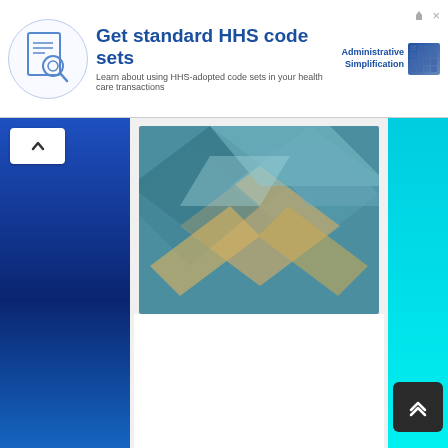Get standard HHS code sets — Learn about using HHS-adopted code sets in your health care transactions
[Figure (illustration): Abstract geometric design with overlapping diamond/chevron shapes in teal, blue, and gold/tan colors forming an X or cross pattern]
[Figure (logo): Administrative Simplification logo with text and dotted grid pattern]